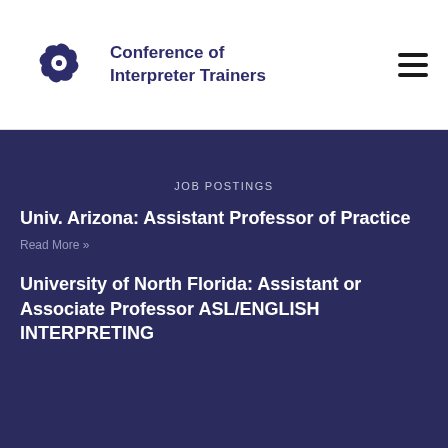[Figure (logo): Conference of Interpreter Trainers logo — purple spiral/pinwheel icon]
Conference of Interpreter Trainers
JOB POSTINGS
Univ. Arizona: Assistant Professor of Practice
Read More »
University of North Florida: Assistant or Associate Professor ASL/ENGLISH INTERPRETING